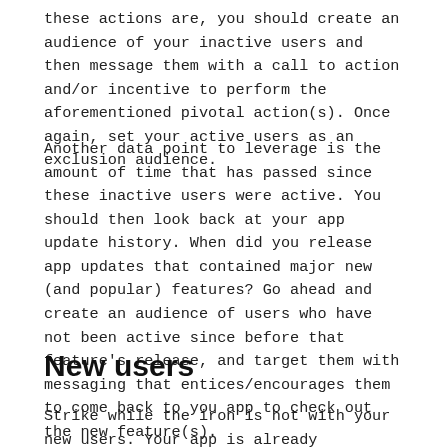these actions are, you should create an audience of your inactive users and then message them with a call to action and/or incentive to perform the aforementioned pivotal action(s). Once again, set your active users as an exclusion audience.
Another data point to leverage is the amount of time that has passed since these inactive users were active. You should then look back at your app update history. When did you release app updates that contained major new (and popular) features? Go ahead and create an audience of users who have not been active since before that feature's release, and target them with messaging that entices/encourages them to come back to you app to check out the new feature(s).
New users
Strike while the iron is hot with your new users. Your app is already relatively well-positioned within a new user's digital